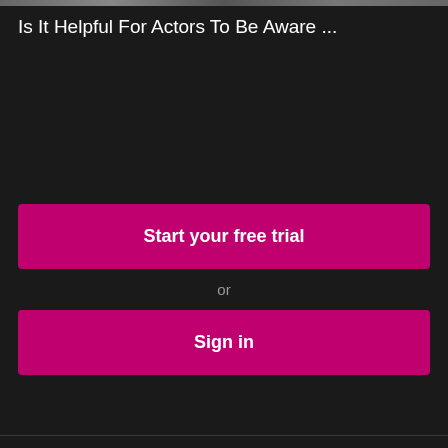[Figure (screenshot): Thin dark image bar at top of page]
Is It Helpful For Actors To Be Aware ...
Start your free trial
or
Sign in
Forums   Help   Terms   Privacy   Cookies   Sign in
POWERED BY VIMEO
Language: